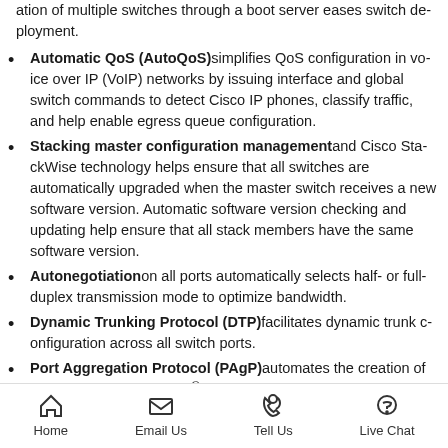ation of multiple switches through a boot server eases switch deployment.
Automatic QoS (AutoQoS) simplifies QoS configuration in voice over IP (VoIP) networks by issuing interface and global switch commands to detect Cisco IP phones, classify traffic, and help enable egress queue configuration.
Stacking master configuration management and Cisco StackWise technology helps ensure that all switches are automatically upgraded when the master switch receives a new software version. Automatic software version checking and updating help ensure that all stack members have the same software version.
Autonegotiation on all ports automatically selects half- or full-duplex transmission mode to optimize bandwidth.
Dynamic Trunking Protocol (DTP) facilitates dynamic trunk configuration across all switch ports.
Port Aggregation Protocol (PAgP) automates the creation of Cisco Fast EtherChannel® groups or Gigabit EtherChannel grou
Home  Email Us  Tell Us  Live Chat